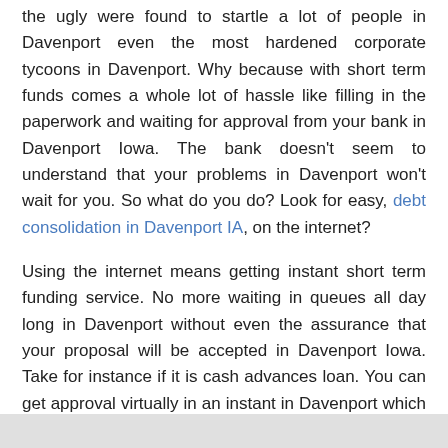the ugly were found to startle a lot of people in Davenport even the most hardened corporate tycoons in Davenport. Why because with short term funds comes a whole lot of hassle like filling in the paperwork and waiting for approval from your bank in Davenport Iowa. The bank doesn't seem to understand that your problems in Davenport won't wait for you. So what do you do? Look for easy, debt consolidation in Davenport IA, on the internet?
Using the internet means getting instant short term funding service. No more waiting in queues all day long in Davenport without even the assurance that your proposal will be accepted in Davenport Iowa. Take for instance if it is cash advances loan. You can get approval virtually in an instant in Davenport which means that unexpected emergency is looked after in Davenport IA.